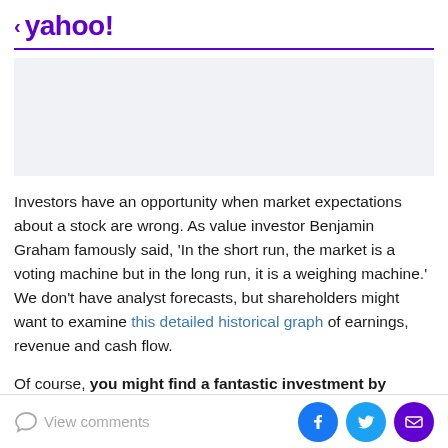< yahoo!
[Figure (other): Advertisement placeholder box, light gray background]
Investors have an opportunity when market expectations about a stock are wrong. As value investor Benjamin Graham famously said, 'In the short run, the market is a voting machine but in the long run, it is a weighing machine.' We don't have analyst forecasts, but shareholders might want to examine this detailed historical graph of earnings, revenue and cash flow.
Of course, you might find a fantastic investment by
View comments